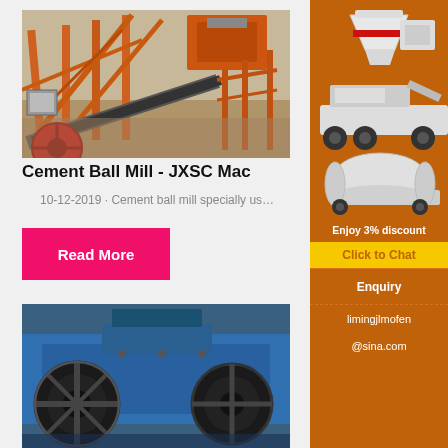[Figure (photo): Industrial mining/cement plant equipment with orange steel conveyor structures and machinery outdoors]
Cement Ball Mill - JXSC Mac
10-12-2019 · Cement ball mill specially us…
Read More
[Figure (photo): Close-up of blue and black industrial crusher/mill machinery with a large flywheel]
[Figure (photo): Sidebar advertisement showing mining/crushing equipment: cone crusher, mobile crusher, ball mill. Orange background. Enjoy 3% discount. Click to Chat.]
Enjoy 3% discount
Click to Chat
Enquiry
limingjlmofen
@sina.com